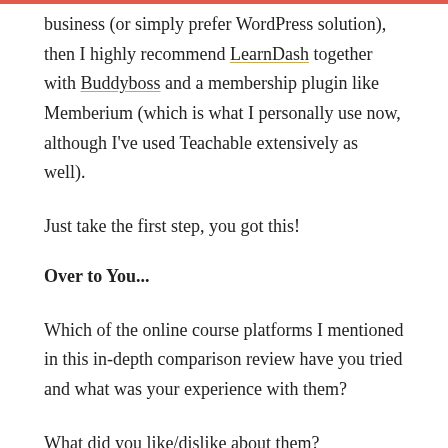business (or simply prefer WordPress solution), then I highly recommend LearnDash together with Buddyboss and a membership plugin like Memberium (which is what I personally use now, although I've used Teachable extensively as well).
Just take the first step, you got this!
Over to You...
Which of the online course platforms I mentioned in this in-depth comparison review have you tried and what was your experience with them?
What did you like/dislike about them?